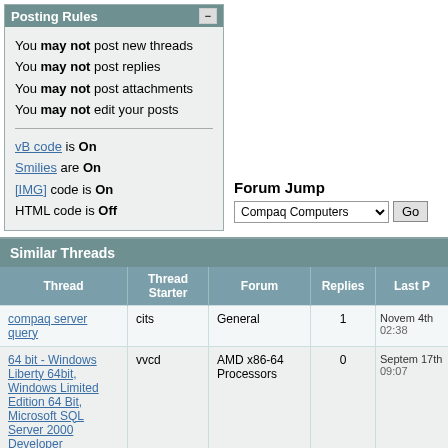Posting Rules
You may not post new threads
You may not post replies
You may not post attachments
You may not edit your posts
vB code is On
Smilies are On
[IMG] code is On
HTML code is Off
Forum Jump
Compaq Computers
Similar Threads
| Thread | Thread Starter | Forum | Replies | Last P |
| --- | --- | --- | --- | --- |
| compaq server query | cits | General | 1 | Novem 4th 02:38 |
| 64 bit - Windows Liberty 64bit, Windows Limited Edition 64 Bit, Microsoft SQL Server 2000 Developer | vvcd | AMD x86-64 Processors | 0 | Septem 17th 09:07 |